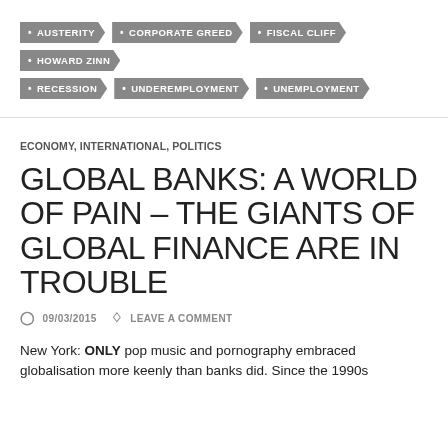AUSTERITY
CORPORATE GREED
FISCAL CLIFF
HOWARD ZINN
RECESSION
UNDEREMPLOYMENT
UNEMPLOYMENT
ECONOMY, INTERNATIONAL, POLITICS
GLOBAL BANKS: A WORLD OF PAIN – THE GIANTS OF GLOBAL FINANCE ARE IN TROUBLE
09/03/2015  LEAVE A COMMENT
New York: ONLY pop music and pornography embraced globalisation more keenly than banks did. Since the 1990s